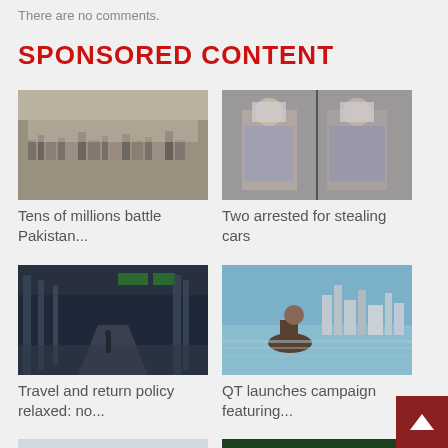There are no comments.
SPONSORED CONTENT
[Figure (photo): Aerial view of a densely packed urban area in Pakistan]
Tens of millions battle Pakistan...
[Figure (photo): Two men seated, faces blurred, arrested for stealing cars]
Two arrested for stealing cars
[Figure (photo): Interior of an airport terminal corridor with green signs]
Travel and return policy relaxed: no...
[Figure (photo): Person on horseback against city skyline with water]
QT launches campaign featuring...
[Figure (photo): Aerial or ground view of a large historic building or plaza]
Amir attends
[Figure (photo): Qatar basketball team players standing together in green venue]
Japan beat